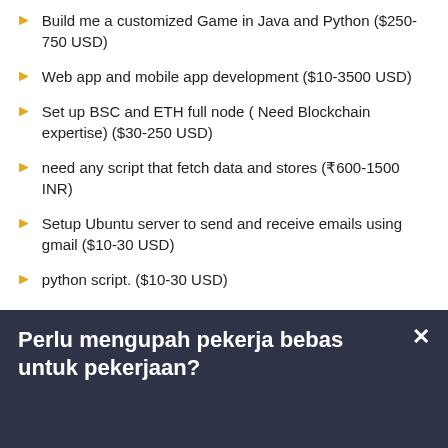Build me a customized Game in Java and Python ($250-750 USD)
Web app and mobile app development ($10-3500 USD)
Set up BSC and ETH full node ( Need Blockchain expertise) ($30-250 USD)
need any script that fetch data and stores (₹600-1500 INR)
Setup Ubuntu server to send and receive emails using gmail ($10-30 USD)
python script. ($10-30 USD)
Perlu mengupah pekerja bebas untuk pekerjaan?
Siarkan Projek